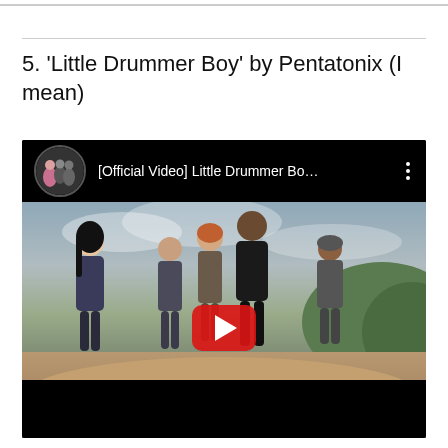5. 'Little Drummer Boy' by Pentatonix (I mean)
[Figure (screenshot): Embedded YouTube video player showing Pentatonix '[Official Video] Little Drummer Bo...' with five members standing on a hillside outdoors, with a large red YouTube play button in the center.]